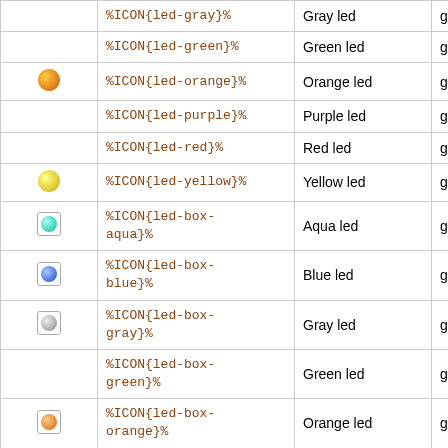| Icon | Code | Description | Type | # |
| --- | --- | --- | --- | --- |
|  | %ICON{led-gray}% | Gray led | gif | 1 |
|  | %ICON{led-green}% | Green led | gif | 1 |
| orange led | %ICON{led-orange}% | Orange led | gif | 1 |
|  | %ICON{led-purple}% | Purple led | gif | 1 |
|  | %ICON{led-red}% | Red led | gif | 1 |
| yellow led | %ICON{led-yellow}% | Yellow led | gif | 1 |
| aqua led box | %ICON{led-box-aqua}% | Aqua led | gif | 1 |
| blue led box | %ICON{led-box-blue}% | Blue led | gif | 1 |
| gray led box | %ICON{led-box-gray}% | Gray led | gif | 1 |
|  | %ICON{led-box-green}% | Green led | gif | 1 |
| orange led box | %ICON{led-box-orange}% | Orange led | gif | 1 |
| purple led box | %ICON{led-box-purple}% | Purple led | gif | 1 |